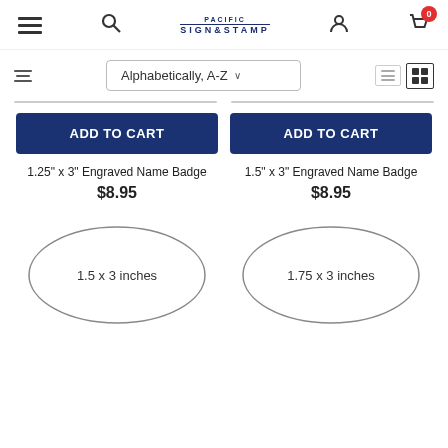[Figure (screenshot): E-commerce website header for Pacific Sign & Stamp with hamburger menu, search icon, logo, user icon, and cart icon with badge showing 0]
[Figure (screenshot): Filter/sort bar with filter icon, Alphabetically A-Z sort dropdown, list view and grid view toggle icons]
ADD TO CART
1.25" x 3" Engraved Name Badge
$8.95
ADD TO CART
1.5" x 3" Engraved Name Badge
$8.95
[Figure (illustration): Oval badge shape showing dimensions 1.5 x 3 inches]
[Figure (illustration): Oval badge shape showing dimensions 1.75 x 3 inches]